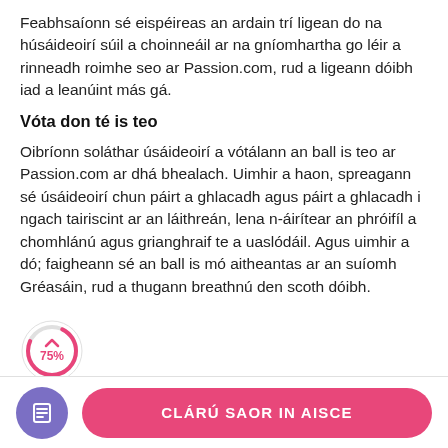Feabhsaíonn sé eispéireas an ardain trí ligean do na húsáideoirí súil a choinneáil ar na gníomhartha go léir a rinneadh roimhe seo ar Passion.com, rud a ligeann dóibh iad a leanúint más gá.
Vóta don té is teo
Oibríonn soláthar úsáideoirí a vótálann an ball is teo ar Passion.com ar dhá bhealach. Uimhir a haon, spreagann sé úsáideoirí chun páirt a ghlacadh agus páirt a ghlacadh i ngach tairiscint ar an láithreán, lena n-áirítear an phróifíl a chomhlánú agus grianghraif te a uaslódáil. Agus uimhir a dó; faigheann sé an ball is mó aitheantas ar an suíomh Gréasáin, rud a thugann breathnú den scoth dóibh.
[Figure (infographic): A circular progress badge showing 75% in pink/red color with an upward arrow icon above it.]
[Figure (logo): A purple circle icon with a document/list symbol inside it, used as a navigation button in the footer.]
CLÁRÚ SAOR IN AISCE